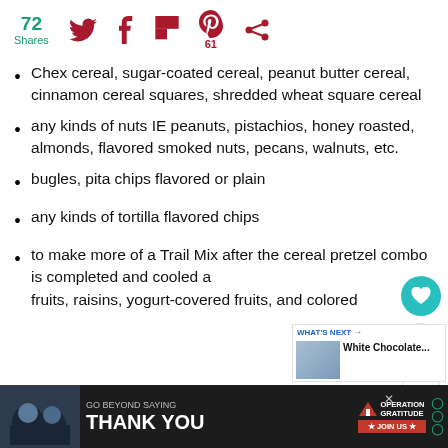72 Shares [Twitter icon] [Facebook icon] [Flipboard icon] [Pinterest icon] 61 [Other icon]
Chex cereal, sugar-coated cereal, peanut butter cereal, cinnamon cereal squares, shredded wheat square cereal
any kinds of nuts IE peanuts, pistachios, honey roasted, almonds, flavored smoked nuts, pecans, walnuts, etc.
bugles, pita chips flavored or plain
any kinds of tortilla flavored chips
to make more of a Trail Mix after the cereal pretzel combo is completed and cooled a[dd] fruits, raisins, yogurt-covered fruits, and colored and coated chocolate pieces